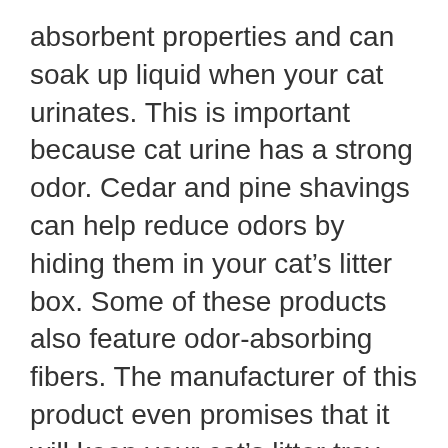absorbent properties and can soak up liquid when your cat urinates. This is important because cat urine has a strong odor. Cedar and pine shavings can help reduce odors by hiding them in your cat's litter box. Some of these products also feature odor-absorbing fibers. The manufacturer of this product even promises that it will keep your cat's litter tray smelling fresh for up to 10 days.
Other benefits of an Eco-friendly pee wee cat litter are its low dust. Cat litters that contain high dust levels